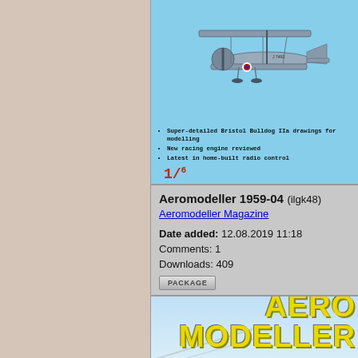[Figure (photo): Cover of Aeromodeller magazine April 1959, showing a Bristol Bulldog IIa biplane in flight with roundel markings. Blue background. Bullet points list: Super-detailed Bristol Bulldog IIa drawings for modelling, New racing engine reviewed, Latest in home-built radio control. Price shown as 1/6.]
Aeromodeller 1959-04 (ilgk48)
Aeromodeller Magazine
Date added: 12.08.2019 11:18
Comments: 1
Downloads: 409
[Figure (photo): Cover of Aeromodeller magazine October 1950, showing the masthead 'AERO MODELLER' in large yellow Impact-style letters, with a scenic background of sky and landscape. 'OCTOBER 1950' printed at top right.]